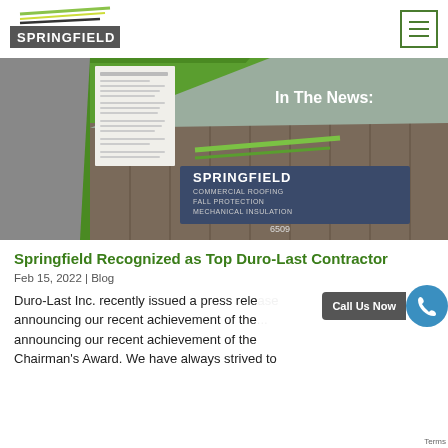Springfield
[Figure (photo): Springfield Commercial Roofing building sign with green diagonal overlay reading 'In The News:' and a document/letter in upper left corner. Sign reads: SPRINGFIELD COMMERCIAL ROOFING FALL PROTECTION MECHANICAL INSULATION, address 6509.]
Springfield Recognized as Top Duro-Last Contractor
Feb 15, 2022 | Blog
Duro-Last Inc. recently issued a press release announcing our recent achievement of the Chairman's Award. We have always strived to